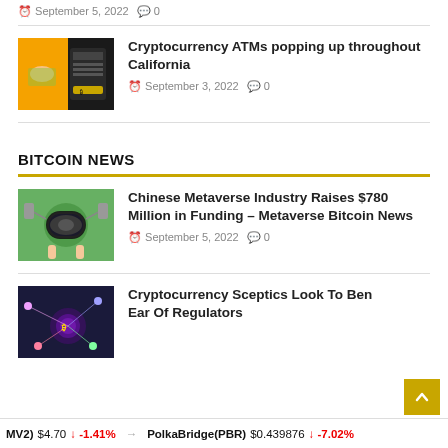September 5, 2022  0
[Figure (photo): Hand inserting money into a cryptocurrency ATM with orange background and Bitcoin logo]
Cryptocurrency ATMs popping up throughout California
September 3, 2022  0
BITCOIN NEWS
[Figure (photo): Person wearing VR headset with hands raised, surprised expression]
Chinese Metaverse Industry Raises $780 Million in Funding – Metaverse Bitcoin News
September 5, 2022  0
[Figure (photo): Cryptocurrency themed image with purple/dark background and coin graphics]
Cryptocurrency Sceptics Look To Ben Ear Of Regulators
MV2) $4.70 ↓ -1.41%  PolkaBridge(PBR) $0.439876 ↓ -7.02%